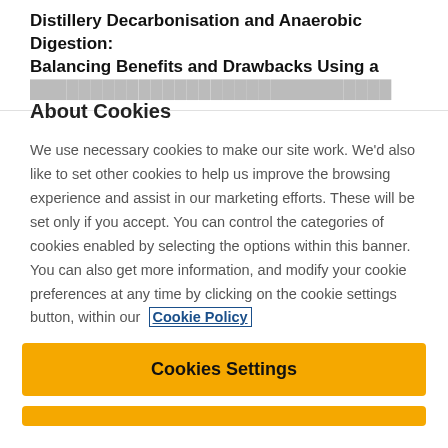Distillery Decarbonisation and Anaerobic Digestion: Balancing Benefits and Drawbacks Using a [blurred text]
About Cookies
We use necessary cookies to make our site work. We'd also like to set other cookies to help us improve the browsing experience and assist in our marketing efforts. These will be set only if you accept. You can control the categories of cookies enabled by selecting the options within this banner. You can also get more information, and modify your cookie preferences at any time by clicking on the cookie settings button, within our Cookie Policy
Cookies Settings
[second button partially visible]